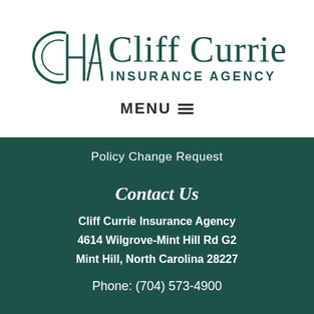[Figure (logo): Cliff Currie Insurance Agency logo with stylized CHA monogram and company name]
MENU ≡
Policy Change Request
Contact Us
Cliff Currie Insurance Agency
4614 Wilgrove-Mint Hill Rd G2
Mint Hill, North Carolina 28227
Phone: (704) 573-4900